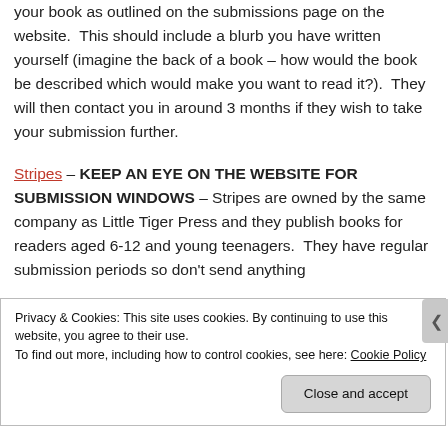your book as outlined on the submissions page on the website. This should include a blurb you have written yourself (imagine the back of a book – how would the book be described which would make you want to read it?). They will then contact you in around 3 months if they wish to take your submission further.
Stripes – KEEP AN EYE ON THE WEBSITE FOR SUBMISSION WINDOWS – Stripes are owned by the same company as Little Tiger Press and they publish books for readers aged 6-12 and young teenagers. They have regular submission periods so don't send anything
Privacy & Cookies: This site uses cookies. By continuing to use this website, you agree to their use.
To find out more, including how to control cookies, see here: Cookie Policy